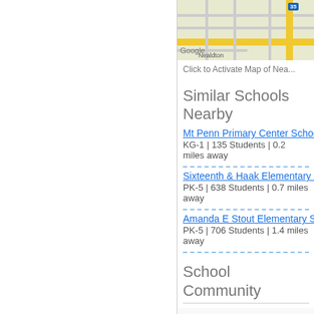[Figure (map): Google Maps partial view showing Nealdton area with road network and Interstate 35 shield]
Click to Activate Map of Nea...
Similar Schools Nearby
Mt Penn Primary Center School
KG-1 | 135 Students | 0.2 miles away
Sixteenth & Haak Elementary Se...
PK-5 | 638 Students | 0.7 miles away
Amanda E Stout Elementary Sc...
PK-5 | 706 Students | 1.4 miles away
School Community
[Figure (photo): Group photo of diverse students/teenagers smiling, some holding books and a basketball]